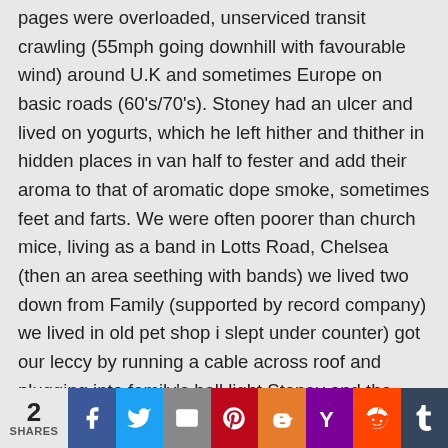pages were overloaded, unserviced transit crawling (55mph going downhill with favourable wind) around U.K and sometimes Europe on basic roads (60's/70's). Stoney had an ulcer and lived on yogurts, which he left hither and thither in hidden places in van half to fester and add their aroma to that of aromatic dope smoke, sometimes feet and farts. We were often poorer than church mice, living as a band in Lotts Road, Chelsea (then an area seething with bands) we lived two down from Family (supported by record company) we lived in old pet shop i slept under counter) got our leccy by running a cable across roof and plugging into family's hall light.Stoney and the band (much influenced by him) read about spiritual belief and
2 SHARES  Facebook  Twitter  Email  Pinterest  Blogger  Yahoo  Reddit  Tumblr